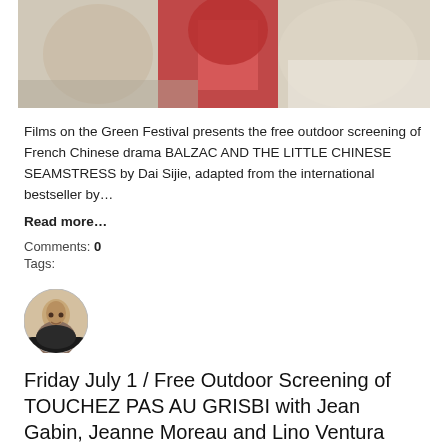[Figure (photo): Partial photo of people, showing hands and faces, cut off at top — appears to be a film/event photo]
Films on the Green Festival presents the free outdoor screening of French Chinese drama BALZAC AND THE LITTLE CHINESE SEAMSTRESS by Dai Sijie, adapted from the international bestseller by…
Read more…
Comments: 0
Tags:
[Figure (photo): Circular avatar photo of Nathalie Charles — a woman with short dark hair smiling slightly]
Friday July 1 / Free Outdoor Screening of TOUCHEZ PAS AU GRISBI with Jean Gabin, Jeanne Moreau and Lino Ventura
Posted by Nathalie Charles on June 27, 2022 at 3:23pm